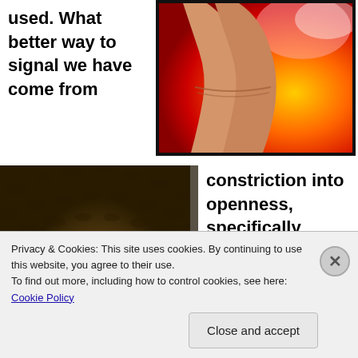used. What better way to signal we have come from
[Figure (photo): Close-up photo of a hand/wrist against a colorful red and yellow background]
[Figure (photo): Photo of a tunnel with stone/brick walls, light visible at far end]
constriction into openness, specifically through the vise of a mother's cervix, out from between two legs. As John Lennon so aptly
Privacy & Cookies: This site uses cookies. By continuing to use this website, you agree to their use.
To find out more, including how to control cookies, see here: Cookie Policy
Close and accept